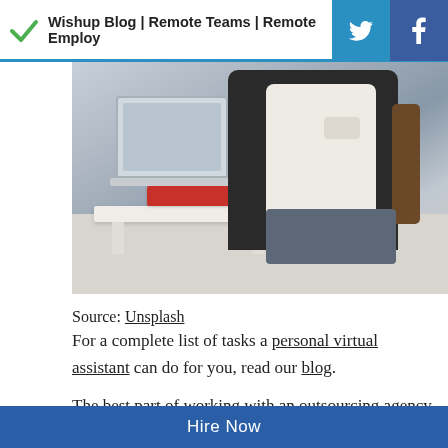Wishup Blog | Remote Teams | Remote Employ
[Figure (photo): Person sitting in a black chair with a laptop on a white table with a red book, holding a phone, in an office setting]
Source: Unsplash
For a complete list of tasks a personal virtual assistant can do for you, read our blog.
The best part of working with an outsourcing agency is that you save yourself the time and effort of going through countless resumes and interviews. Not to mention the training period.
Hire Now